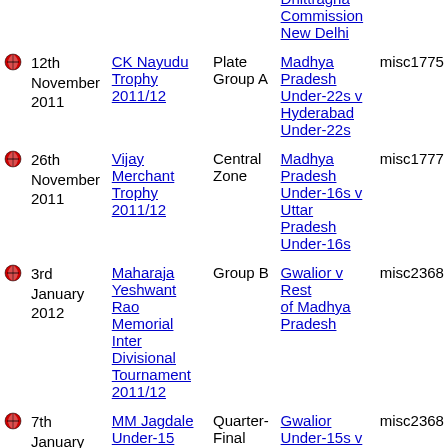|  | Date | Tournament | Stage | Match | ID |
| --- | --- | --- | --- | --- | --- |
|  | 12th November 2011 | CK Nayudu Trophy 2011/12 | Plate Group A | Madhya Pradesh Under-22s v Hyderabad Under-22s | misc1775 |
|  | 26th November 2011 | Vijay Merchant Trophy 2011/12 | Central Zone | Madhya Pradesh Under-16s v Uttar Pradesh Under-16s | misc1777 |
|  | 3rd January 2012 | Maharaja Yeshwant Rao Memorial Inter Divisional Tournament 2011/12 | Group B | Gwalior v Rest of Madhya Pradesh | misc2368 |
|  | 7th January 2012 | MM Jagdale Under-15 Inter Divisional Tournament 2011/12 | Quarter-Final | Gwalior Under-15s v Bhopal Under-15s | misc2368 |
|  | 7th | Maharaja... | Group B | Rest of... | misc2368 |